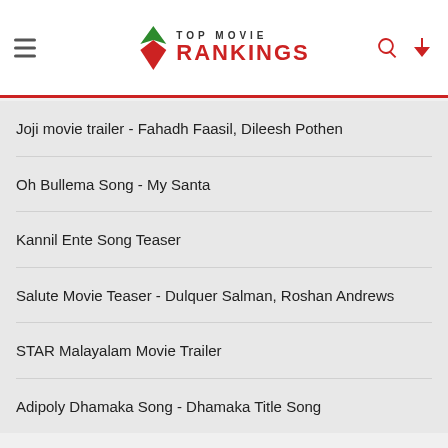TOP MOVIE RANKINGS
Joji movie trailer - Fahadh Faasil, Dileesh Pothen
Oh Bullema Song - My Santa
Kannil Ente Song Teaser
Salute Movie Teaser - Dulquer Salman, Roshan Andrews
STAR Malayalam Movie Trailer
Adipoly Dhamaka Song - Dhamaka Title Song
READ MORE on Newz Online